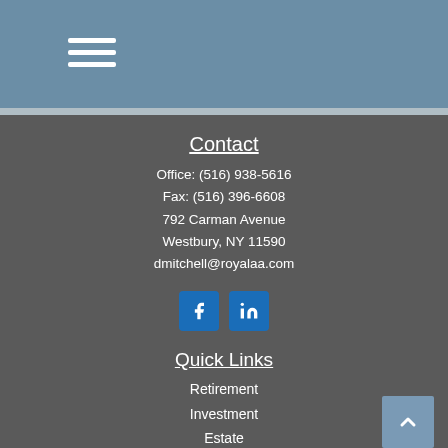Contact
Office: (516) 938-5616
Fax: (516) 396-6608
792 Carman Avenue
Westbury, NY 11590
dmitchell@royalaa.com
[Figure (illustration): Facebook and LinkedIn social media icon buttons]
Quick Links
Retirement
Investment
Estate
Insurance
Tax
Money
Lifestyle